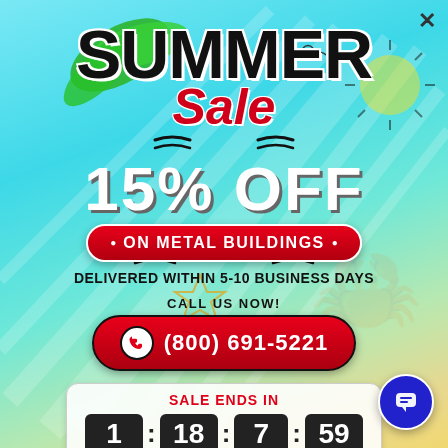[Figure (illustration): Summer Sale promotional banner with tropical theme, light blue gradient background with sun rays, palm leaf, star, and decorative wave lines]
SUMMER Sale
15% OFF
• ON METAL BUILDINGS •
DELIVERED WITHIN 5-10 BUSINESS DAYS
CALL US NOW!
(800) 691-5221
SALE ENDS IN
1 : 18 : 7 : 59
DAYS   HRS   MIN   SEC
*Offer Valid in the Limited States Only*